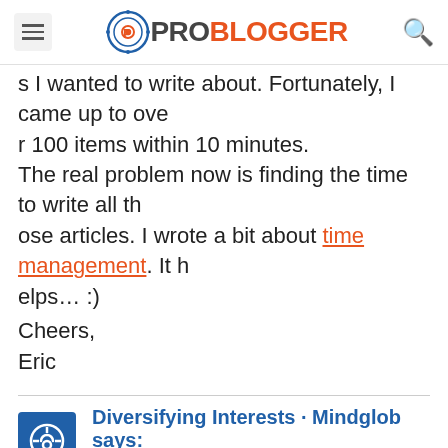ProBlogger
s I wanted to write about. Fortunately, I came up to over 100 items within 10 minutes. The real problem now is finding the time to write all those articles. I wrote a bit about time management. It helps... :)
Cheers,
Eric
Diversifying Interests · Mindglob says: 07/25/2006 at 4:37 am
[…] I've been considering starting a few more blogs, eac